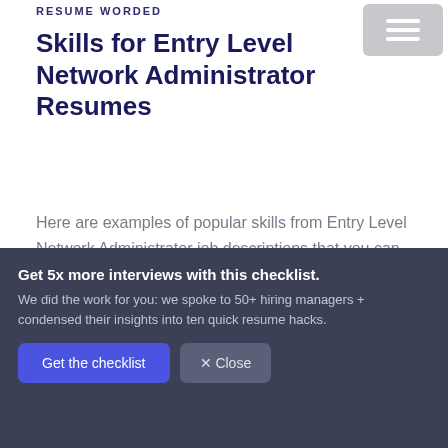RESUME WORDED
Skills for Entry Level Network Administrator Resumes
Here are examples of popular skills from Entry Level Network Administrator job descriptions that you can include on your resume.
Microsoft Exchange
Network Security
Get 5x more interviews with this checklist.
We did the work for you: we spoke to 50+ hiring managers + condensed their insights into ten quick resume hacks.
Get the checklist
✕ Close